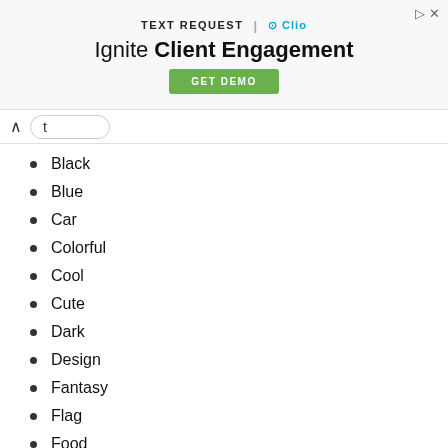[Figure (screenshot): Advertisement banner for Text Request and Clio with headline 'Ignite Client Engagement' and a green GET DEMO button]
t
Black
Blue
Car
Colorful
Cool
Cute
Dark
Design
Fantasy
Flag
Food